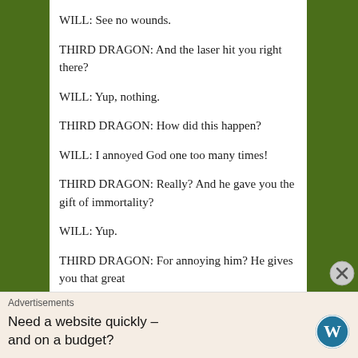WILL: See no wounds.
THIRD DRAGON: And the laser hit you right there?
WILL: Yup, nothing.
THIRD DRAGON: How did this happen?
WILL: I annoyed God one too many times!
THIRD DRAGON: Really? And he gave you the gift of immortality?
WILL: Yup.
THIRD DRAGON: For annoying him? He gives you that great
Advertisements
Need a website quickly – and on a budget?